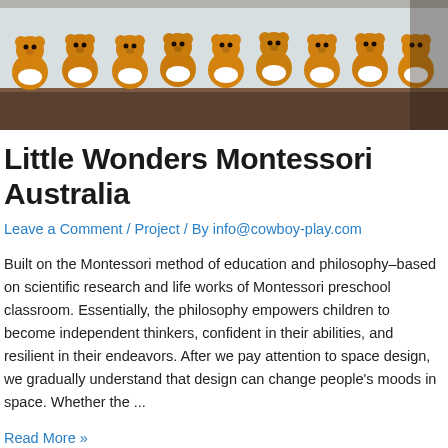[Figure (photo): Row of orange teddy bears lined up on a dark shelf/surface against a light background]
Little Wonders Montessori Australia
Leave a Comment / Project / By info@cowboy-play.com
Built on the Montessori method of education and philosophy–based on scientific research and life works of Montessori preschool classroom. Essentially, the philosophy empowers children to become independent thinkers, confident in their abilities, and resilient in their endeavors. After we pay attention to space design, we gradually understand that design can change people's moods in space. Whether the ...
Read More »